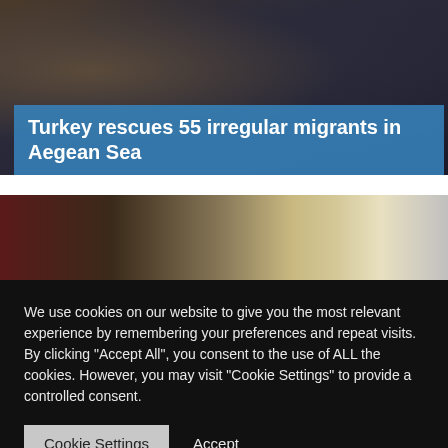[Figure (photo): News article thumbnail showing a crowd of people in a dark setting, partially obscured.]
Turkey rescues 55 irregular migrants in Aegean Sea
[Figure (photo): Indoor scene showing what appears to be a formal room with red-framed windows, an air conditioning unit, ornate cornice, curtains, and a chandelier.]
We use cookies on our website to give you the most relevant experience by remembering your preferences and repeat visits. By clicking "Accept All", you consent to the use of ALL the cookies. However, you may visit "Cookie Settings" to provide a controlled consent.